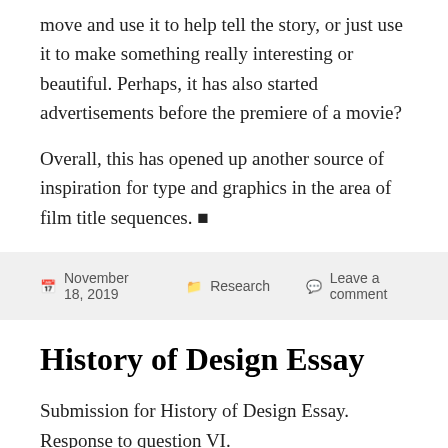move and use it to help tell the story, or just use it to make something really interesting or beautiful. Perhaps, it has also started advertisements before the premiere of a movie?
Overall, this has opened up another source of inspiration for type and graphics in the area of film title sequences. 🔲
November 18, 2019  Research  Leave a comment
History of Design Essay
Submission for History of Design Essay. Response to question VI.
Choose a historic or contemporary media artist not